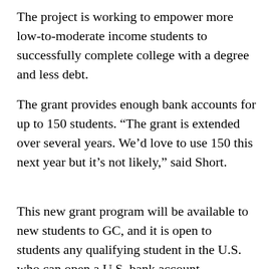The project is working to empower more low-to-moderate income students to successfully complete college with a degree and less debt.
The grant provides enough bank accounts for up to 150 students. “The grant is extended over several years. We’d love to use 150 this next year but it’s not likely,” said Short.
This new grant program will be available to new students to GC, and it is open to students any qualifying student in the U.S. who can open a U.S. bank account.